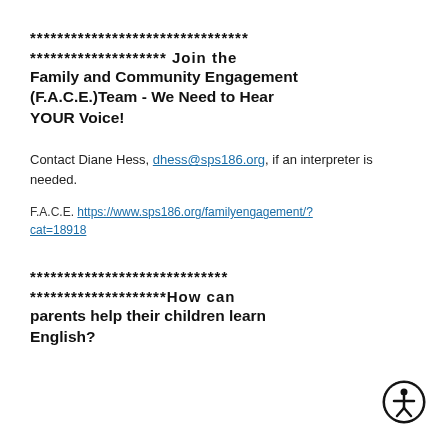******************************** ******************** Join the Family and Community Engagement (F.A.C.E.)Team - We Need to Hear YOUR Voice!
Contact Diane Hess, dhess@sps186.org, if an interpreter is needed.
F.A.C.E. https://www.sps186.org/familyengagement/?cat=18918
***************************** ********************How can parents help their children learn English?